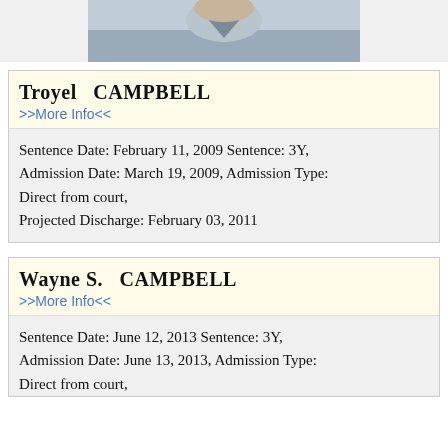[Figure (photo): Partial photo of a person wearing a blue/grey top, cropped at the top of the page]
Troyel   CAMPBELL
>>More Info<<
Sentence Date: February 11, 2009 Sentence: 3Y, Admission Date: March 19, 2009, Admission Type: Direct from court,
Projected Discharge: February 03, 2011
Wayne S.   CAMPBELL
>>More Info<<
Sentence Date: June 12, 2013 Sentence: 3Y, Admission Date: June 13, 2013, Admission Type: Direct from court,